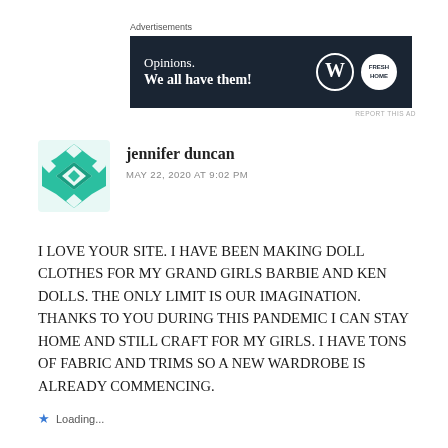[Figure (screenshot): Advertisement banner with dark navy background showing 'Opinions. We all have them!' with WordPress and FreshHome logos]
jennifer duncan
MAY 22, 2020 AT 9:02 PM
I LOVE YOUR SITE. I HAVE BEEN MAKING DOLL CLOTHES FOR MY GRAND GIRLS BARBIE AND KEN DOLLS. THE ONLY LIMIT IS OUR IMAGINATION. THANKS TO YOU DURING THIS PANDEMIC I CAN STAY HOME AND STILL CRAFT FOR MY GIRLS. I HAVE TONS OF FABRIC AND TRIMS SO A NEW WARDROBE IS ALREADY COMMENCING.
Loading...